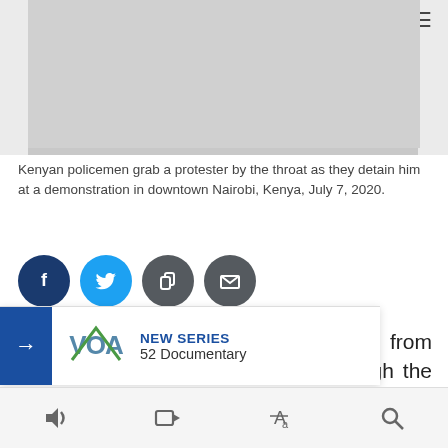VOA News website screenshot header with logo
[Figure (photo): Kenyan policemen grab a protester by the throat at a demonstration in downtown Nairobi, Kenya. Partial image visible at top of page with VOA logo overlay.]
Kenyan policemen grab a protester by the throat as they detain him at a demonstration in downtown Nairobi, Kenya, July 7, 2020.
[Figure (infographic): Social media share buttons: Facebook (dark blue), Twitter (light blue), Copy link (dark grey), Email (dark grey)]
Hundreds of demonstrators, mostly from poor parts of Nairobi, marched through the streets Tuesday of the Kenyan capital to protest against violent policing and the lack of basic services in their areas. Police used tear gas a... they tried to re...
[Figure (infographic): Overlay notification bar with blue arrow button, VOA logo, and text: NEW SERIES / 52 Documentary]